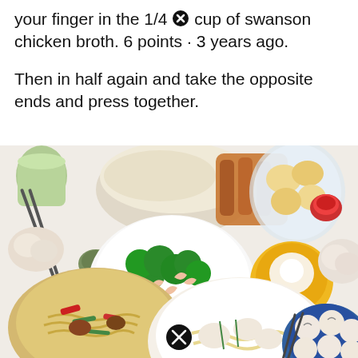your finger in the 1/4 [x] cup of swanson chicken broth. 6 points · 3 years ago.
Then in half again and take the opposite ends and press together.
[Figure (photo): Overhead flat-lay photo of multiple Asian dishes on a white table including broccoli shrimp, stir-fried noodles, dumplings, glazed chicken strips, rice, and various side dishes and sauces. A close/remove icon appears at the bottom center of the image.]